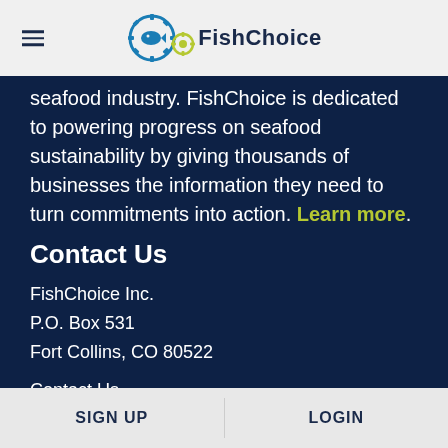FishChoice
seafood industry. FishChoice is dedicated to powering progress on seafood sustainability by giving thousands of businesses the information they need to turn commitments into action. Learn more.
Contact Us
FishChoice Inc.
P.O. Box 531
Fort Collins, CO 80522
Contact Us
[Figure (infographic): Social media icons: Facebook, Instagram, Twitter, LinkedIn — yellow-green circular icons]
SIGN UP    LOGIN